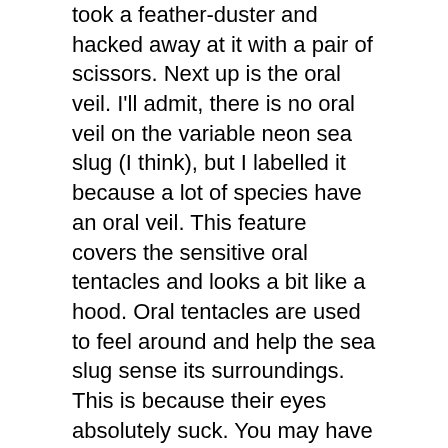took a feather-duster and hacked away at it with a pair of scissors. Next up is the oral veil. I'll admit, there is no oral veil on the variable neon sea slug (I think), but I labelled it because a lot of species have an oral veil. This feature covers the sensitive oral tentacles and looks a bit like a hood. Oral tentacles are used to feel around and help the sea slug sense its surroundings. This is because their eyes absolutely suck. You may have noticed I didn't label the eyes in the diagram, and that is because I couldn't figure out where the eyes were on my reference image due to their tiny size.

Now to talk about the mantle. Not referring to the largest layer of Earth, sandwiched between the crust and core of our beloved planet. No, I'm referring to the thing in the diagram that I labelled. The mantle is most of the main body of the sea slug and is rather self-explanatory. If you're confused, search up pictures of terrestrial sea slug mantles and you'll get the